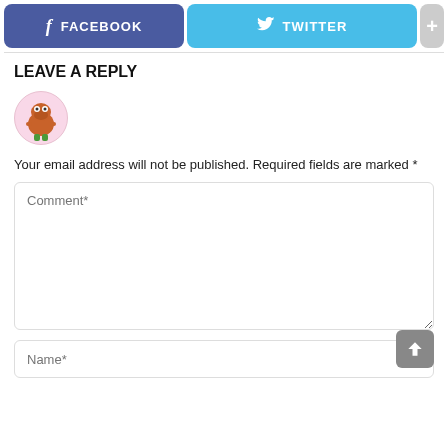[Figure (screenshot): Social share buttons bar: Facebook (blue-purple), Twitter (sky blue), and a plus button (gray)]
LEAVE A REPLY
[Figure (illustration): Small cartoon avatar of a character with a beard and green pants inside a pink circle]
Your email address will not be published. Required fields are marked *
[Figure (screenshot): Comment text area input field with placeholder text 'Comment*']
[Figure (screenshot): Name input field with placeholder text 'Name*' and a gray scroll-up arrow button at bottom right]